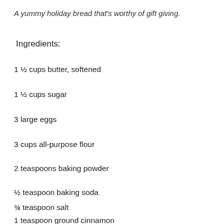A yummy holiday bread that's worthy of gift giving.
Ingredients:
1 ½ cups butter, softened
1 ½ cups sugar
3 large eggs
3 cups all-purpose flour
2 teaspoons baking powder
½ teaspoon baking soda
¾ teaspoon salt
1 teaspoon ground cinnamon